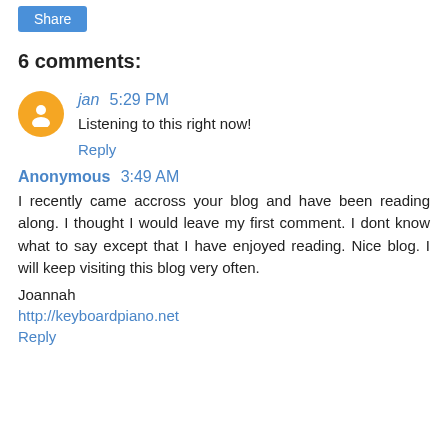[Figure (other): Share button — blue rounded rectangle with white text 'Share']
6 comments:
jan 5:29 PM
Listening to this right now!
Reply
Anonymous 3:49 AM
I recently came accross your blog and have been reading along. I thought I would leave my first comment. I dont know what to say except that I have enjoyed reading. Nice blog. I will keep visiting this blog very often.

Joannah

http://keyboardpiano.net
Reply